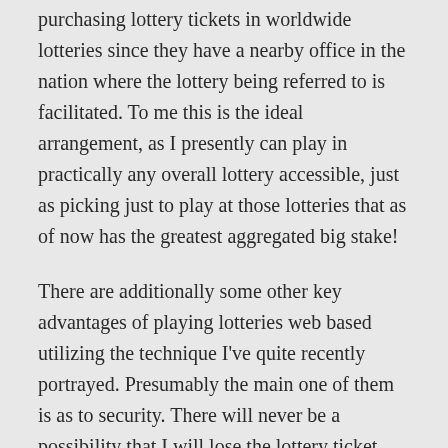purchasing lottery tickets in worldwide lotteries since they have a nearby office in the nation where the lottery being referred to is facilitated. To me this is the ideal arrangement, as I presently can play in practically any overall lottery accessible, just as picking just to play at those lotteries that as of now has the greatest aggregated big stake!
There are additionally some other key advantages of playing lotteries web based utilizing the technique I've quite recently portrayed. Presumably the main one of them is as to security. There will never be a possibility that I will lose the lottery ticket again, as the organization – the lottery intermediary – from whom I've made the buy, will store my tickets and monitor any rewards without me making the slightest effort! This is likely perhaps the best advantage of playing lotteries on the